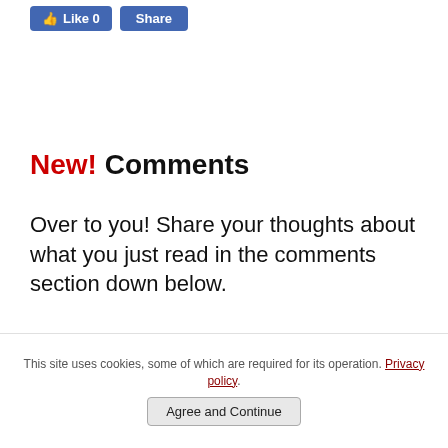[Figure (screenshot): Facebook Like button showing '0' likes and a Share button, both in blue]
New! Comments
Over to you! Share your thoughts about what you just read in the comments section down below.
0 Comments    Sort by  Newest
This site uses cookies, some of which are required for its operation. Privacy policy.
Agree and Continue